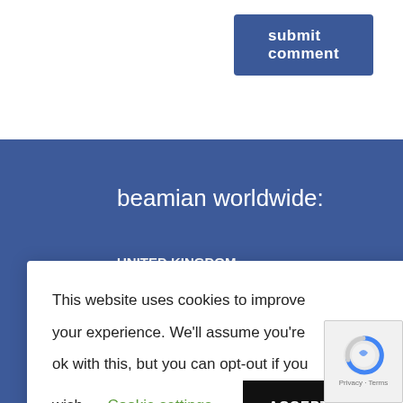submit comment
beamian worldwide:
UNITED KINGDOM
18 Soho Square, London, W1D 3QL
r, Lisbon,
nta 5a,
015, Spain
This website uses cookies to improve your experience. We'll assume you're ok with this, but you can opt-out if you wish. Cookie settings ACCEPT
Richmodstrasse 6, Cologne, Nordrhein-Westfalen, 50667, Germany